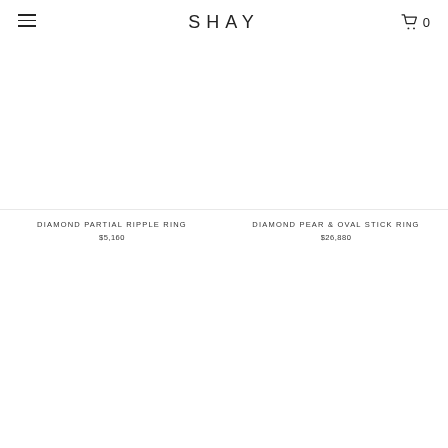SHAY
DIAMOND PARTIAL RIPPLE RING
$5,160
DIAMOND PEAR & OVAL STICK RING
$26,880